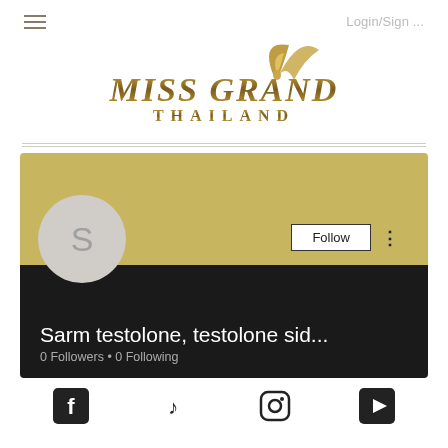≡  Login/Sign ...
[Figure (logo): Miss Grand Thailand logo with golden crown/feather graphic above stylized text 'MISS GRAND THAILAND']
[Figure (screenshot): User profile card with gold banner background, circular avatar with letter S, Follow button, username 'Sarm testolone, testolone sid...', 0 Followers • 0 Following]
[Figure (infographic): Social media icon bar with Facebook, TikTok, Instagram, and YouTube icons]